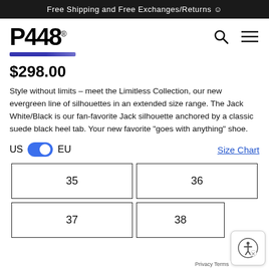Free Shipping and Free Exchanges/Returns ☺
[Figure (logo): P448 brand logo with registered trademark symbol]
[Figure (other): Blue gradient decorative bar below logo]
$298.00
Style without limits – meet the Limitless Collection, our new evergreen line of silhouettes in an extended size range. The Jack White/Black is our fan-favorite Jack silhouette anchored by a classic suede black heel tab. Your new favorite "goes with anything" shoe.
US  EU  Size Chart
| 35 | 36 |
| 37 | 38 |